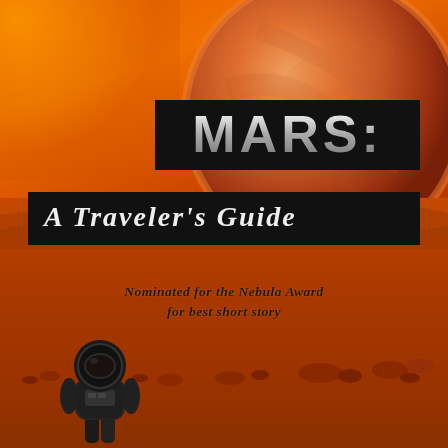[Figure (illustration): Book cover for 'MARS: A Traveler's Guide'. Orange Martian landscape with red planet visible in top right, rocky terrain, and an astronaut in a spacesuit at the bottom left. Dark sky with orange haze.]
MARS: A Traveler's Guide
Nominated for the Nebula Award for best short story